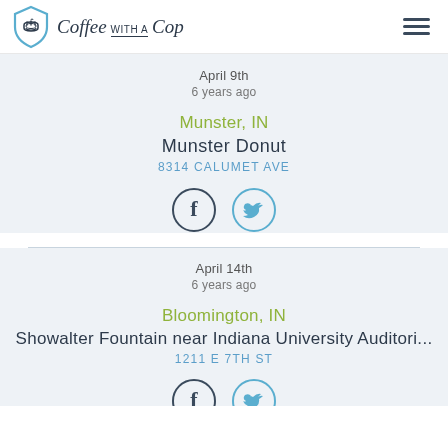Coffee with a Cop
April 9th
6 years ago
Munster, IN
Munster Donut
8314 CALUMET AVE
[Figure (infographic): Facebook and Twitter share icons (circles with f and bird logos)]
April 14th
6 years ago
Bloomington, IN
Showalter Fountain near Indiana University Auditori...
1211 E 7TH ST
[Figure (infographic): Facebook and Twitter share icons (partially visible at bottom)]